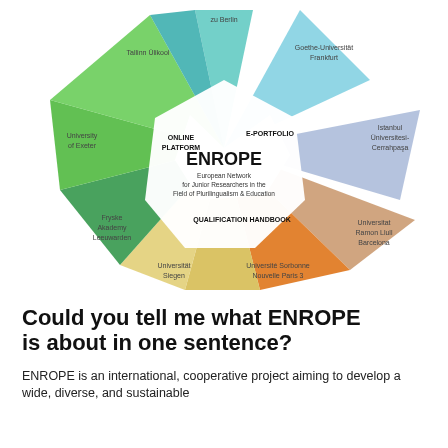[Figure (infographic): ENROPE star/pinwheel diagram showing the European Network for Junior Researchers in the Field of Plurilingualism & Education, with colored triangular spokes representing partner institutions: Tallinn Ülikool, zu Berlin, Goethe-Universität Frankfurt, Istanbul Üniversitesi-Cerrahpaşa, Universitat Ramon Llull Barcelona, Université Sorbonne Nouvelle Paris 3, Universität Siegen, Fryske Akademy Leeuwarden, University of Exeter. Center labels: ONLINE PLATFORM, E-PORTFOLIO, QUALIFICATION HANDBOOK.]
Could you tell me what ENROPE is about in one sentence?
ENROPE is an international, cooperative project aiming to develop a wide, diverse, and sustainable